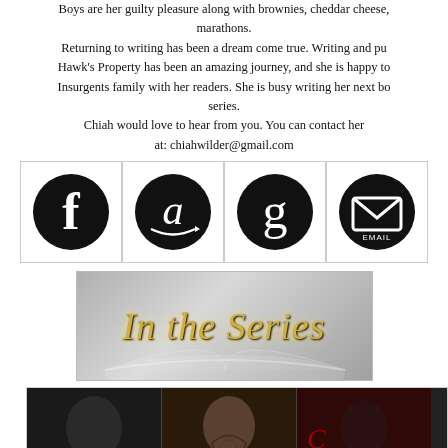Boys are her guilty pleasure along with brownies, cheddar cheese, and TV marathons.
Returning to writing has been a dream come true. Writing and publishing Hawk's Property has been an amazing journey, and she is happy to share the Insurgents family with her readers. She is busy writing her next book in the series.
Chiah would love to hear from you. You can contact her at: chiahwilder@gmail.com
[Figure (illustration): Row of four social media / contact icons: Facebook (f), Amazon (a with arrow), Goodreads (g), Email (envelope icon with EMAIL text) — all white icons on black circles, in bordered white cells]
[Figure (illustration): Banner image with grey blurred bokeh/book background and gold cursive text reading 'In the Series']
[Figure (photo): Three book covers side by side showing tattooed shirtless men in dark/moody photos; leftmost has 'HAWK' text visible at bottom left]